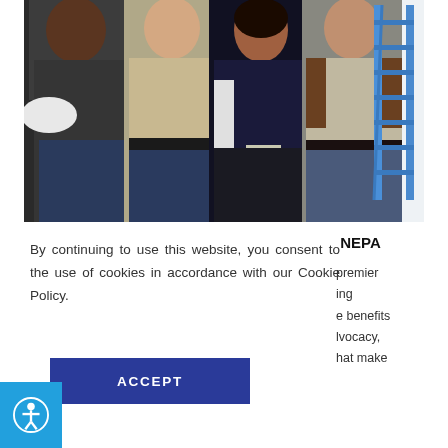[Figure (photo): Group photo of four construction/trade workers standing together — an African American man holding a hard hat, a man in a khaki shirt, a woman in a dark navy top with work gloves, and a young man in a brown-sleeve shirt — with a blue ladder visible in the background against a white wall.]
By continuing to use this website, you consent to the use of cookies in accordance with our Cookie Policy.
ACCEPT
NEPA
premier ing e benefits lvocacy, hat make